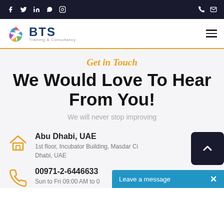BTS Training & Consultancy - social media and contact icons top bar
[Figure (logo): BTS Training & Consultancy logo with circular colored icon and company name]
Get in Touch
We Would Love To Hear From You!
We will never stop improving
Abu Dhabi, UAE
1st floor, Incubator Building, Masdar City, Abu Dhabi, UAE
00971-2-6446633
Sun to Fri 09:00 AM to 0...